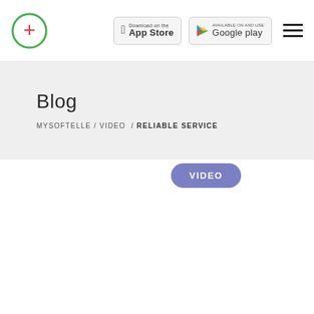[Figure (logo): MySoftelle logo: green circle with red plus/cross symbol inside]
[Figure (screenshot): Download on the App Store badge]
[Figure (screenshot): Available on Google Play badge]
[Figure (other): Hamburger menu icon (three horizontal lines)]
Blog
MYSOFTELLE / VIDEO / RELIABLE SERVICE
VIDEO